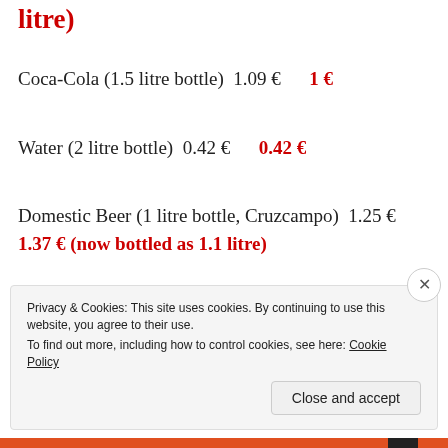litre)
Coca-Cola (1.5 litre bottle)  1.09 €   1 €
Water (2 litre bottle)  0.42 €   0.42 €
Domestic Beer (1 litre bottle, Cruzcampo)  1.25 €  1.37 € (now bottled as 1.1 litre)
Privacy & Cookies: This site uses cookies. By continuing to use this website, you agree to their use.
To find out more, including how to control cookies, see here: Cookie Policy